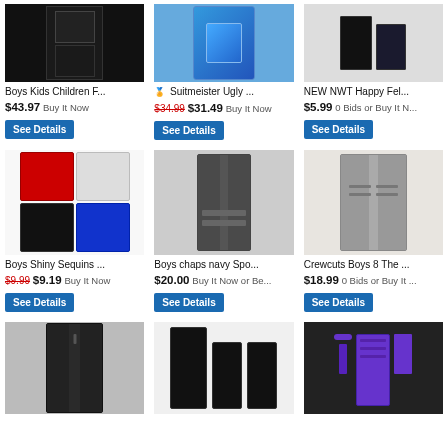[Figure (photo): Boys black formal suit full set on white background]
Boys Kids Children F...
$43.97 Buy It Now
[Figure (photo): Colorful ugly christmas novelty suit blue with patterns]
Suitmeister Ugly ...
$34.99 $31.49 Buy It Now
[Figure (photo): NEW NWT Happy Fel... boys formal pants and shirt set]
NEW NWT Happy Fel...
$5.99 0 Bids or Buy It N...
[Figure (photo): Boys shiny sequins blazers in red, white, black, blue colors]
Boys Shiny Sequins ...
$9.99 $9.19 Buy It Now
[Figure (photo): Boys gray chaps navy sport coat jacket on hanger]
Boys chaps navy Spo...
$20.00 Buy It Now or Be...
[Figure (photo): Crewcuts boys gray herringbone blazer on wooden hanger]
Crewcuts Boys 8 The ...
$18.99 0 Bids or Buy It ...
[Figure (photo): Black boys formal blazer jacket]
[Figure (photo): Black suit set with jacket and pants on hangers]
[Figure (photo): Purple boys vest with tie and bow tie accessories set]